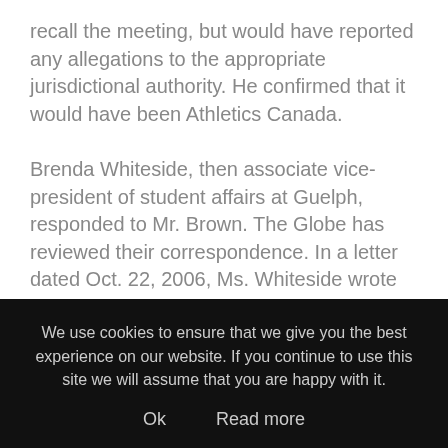recall the meeting, but would have reported any allegations to the appropriate jurisdictional authority. He confirmed that it would have been Athletics Canada. Brenda Whiteside, then associate vice-president of student affairs at Guelph, responded to Mr. Brown. The Globe has reviewed their correspondence. In a letter dated Oct. 22, 2006, Ms. Whiteside wrote that the allegations arise out of a relationship between your daughter Megan and Mr. Scott-Thomas prior to Megans attendance at the University as a student for the Fall 2004 semester
We use cookies to ensure that we give you the best experience on our website. If you continue to use this site we will assume that you are happy with it.
Ok   Read more